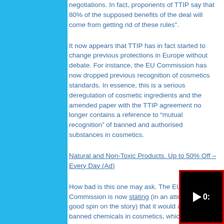negotiations. In fact, proponents of TTIP say that 80% of the supposed benefits of the deal will come from getting rid of these rules".
It now appears that TTIP has in fact started to change previous protections in Europe without debate. For instance, the EU Commission has now dropped previous recognition of cosmetics standards. In essence, this is a serious deregulation of cosmetic ingredients and the amended paper with the TTIP agreement no longer contains a reference to “mutual recognition” of banned and authorised substances in cosmetics.
Natural and Non-Toxic Products. Up to 50% Off – Every Day (Ad)
How bad is this one may ask. The EU Commission is now stating (in an attempt to put a good spin on the story) that it would accept banned chemicals in cosmetics, which would significantly risk lowering safety standards in the EU. More than 1,300 substances are prohibited in cosmetics in the EU, while only 11 are in the US. That